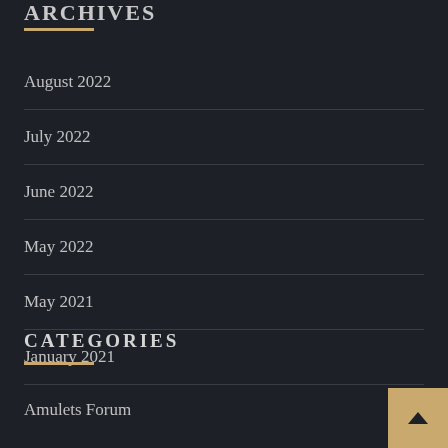ARCHIVES
August 2022
July 2022
June 2022
May 2022
May 2021
January 2021
CATEGORIES
Amulets Forum